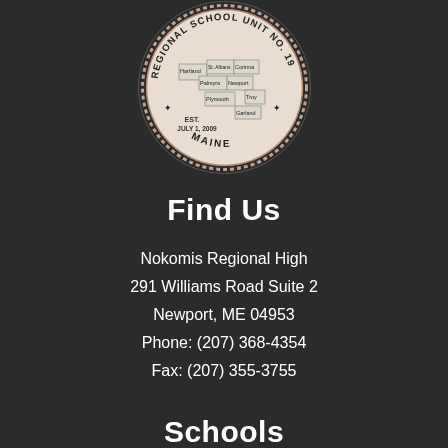[Figure (logo): Regional School Unit No. 19, Maine seal/logo with a map of the region in the center, EST. JULY 1, 2009]
Find Us
Nokomis Regional High
291 Williams Road Suite 2
Newport, ME 04953
Phone: (207) 368-4354
Fax: (207) 355-3755
Schools